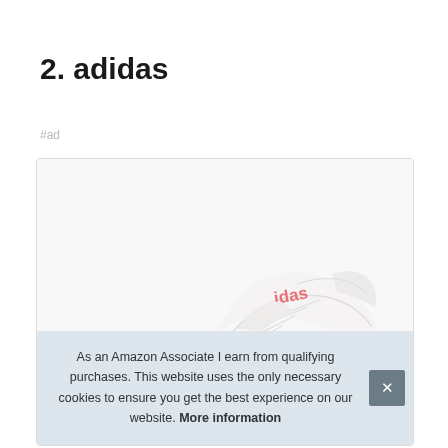2. adidas
#ad
[Figure (photo): Adidas white sneaker shoe with coral/salmon pink branding, high-top style, photographed from side/above angle on white background]
As an Amazon Associate I earn from qualifying purchases. This website uses the only necessary cookies to ensure you get the best experience on our website. More information